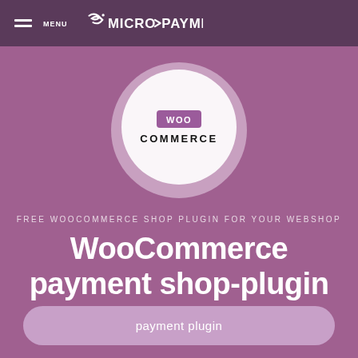MENU  MICRO PAYMENT
[Figure (logo): WooCommerce circular logo badge with purple/pink ring, white circle center, WOO badge and COMMERCE text]
FREE WOOCOMMERCE SHOP PLUGIN FOR YOUR WEBSHOP
WooCommerce payment shop-plugin
payment plugin